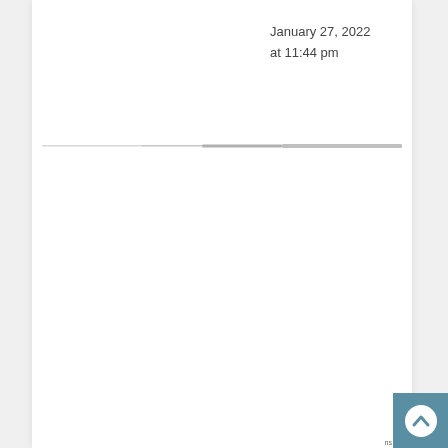January 27, 2022
at 11:44 pm
[Figure (other): Horizontal divider line with light gray gradient segments]
[Figure (other): Back to top button — teal/steel blue square with white upward chevron circle icon, bottom right corner]